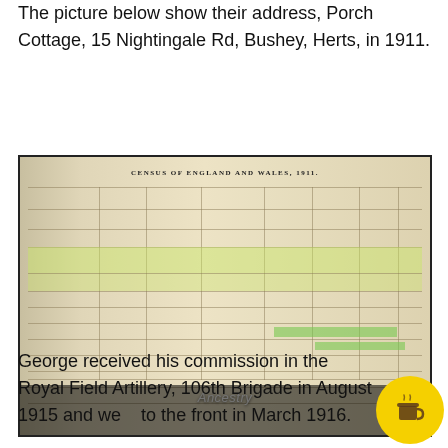The picture below show their address, Porch Cottage, 15 Nightingale Rd, Bushey, Herts, in 1911.
[Figure (photo): Scanned 1911 Census of England and Wales document showing household entry for Porch Cottage, 15 Nightingale Rd, Bushey, Herts, with highlighted rows and Ancestry watermark.]
George received his commission in the Royal Field Artillery, 106th Brigade in August 1915 and went to the front in March 1916.